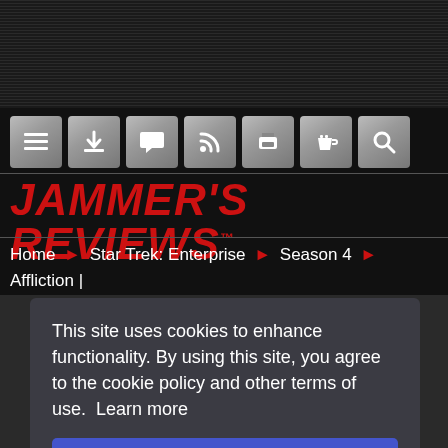[Figure (screenshot): Dark horizontal scanline background at top of page]
[Figure (screenshot): Navigation toolbar with 6 icon buttons: menu, download, comments, RSS, print, coffee/donate, search]
JAMMER'S REVIEWS™
Home ▶ Star Trek: Enterprise ▶ Season 4 ▶ Affliction | Comments (27)
Affliction
★ ★ ★ ★
Air date: 2/18/2005
Teleplay by Mike Sussman
This site uses cookies to enhance functionality. By using this site, you agree to the cookie policy and other terms of use.  Learn more
Agree